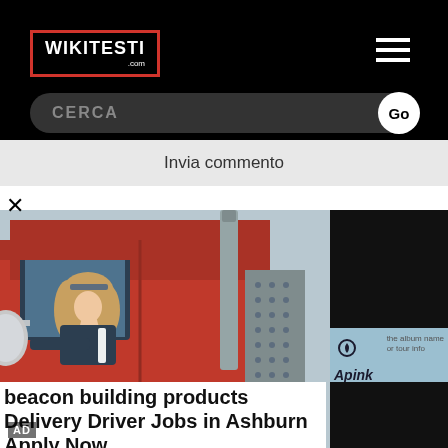[Figure (screenshot): WIKITESTI.com logo in red border on black background with hamburger menu icon]
CERCA
Go
Invia commento
×
[Figure (photo): Woman truck driver leaning out of red semi-truck cab window, smiling. AD label in bottom left.]
beacon building products Delivery Driver Jobs in Ashburn Apply Now
jobble.com